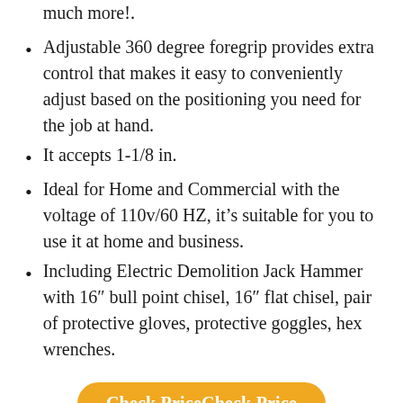much more!.
Adjustable 360 degree foregrip provides extra control that makes it easy to conveniently adjust based on the positioning you need for the job at hand.
It accepts 1-1/8 in.
Ideal for Home and Commercial with the voltage of 110v/60 HZ, it’s suitable for you to use it at home and business.
Including Electric Demolition Jack Hammer with 16″ bull point chisel, 16″ flat chisel, pair of protective gloves, protective goggles, hex wrenches.
Check PriceCheck Price
4. F2C 2200W HEAVY DUTY ELECTRIC DEMOLITION JACK HAMMER CONCRETE